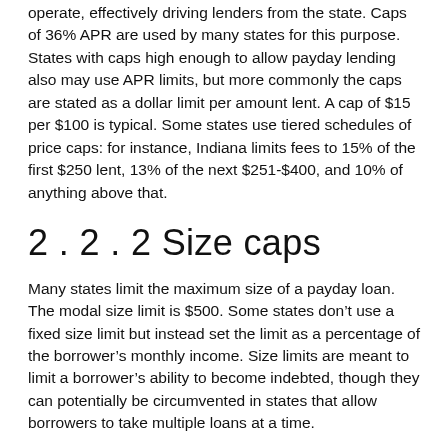operate, effectively driving lenders from the state. Caps of 36% APR are used by many states for this purpose. States with caps high enough to allow payday lending also may use APR limits, but more commonly the caps are stated as a dollar limit per amount lent. A cap of $15 per $100 is typical. Some states use tiered schedules of price caps: for instance, Indiana limits fees to 15% of the first $250 lent, 13% of the next $251-$400, and 10% of anything above that.
2 . 2 . 2 Size caps
Many states limit the maximum size of a payday loan. The modal size limit is $500. Some states don’t use a fixed size limit but instead set the limit as a percentage of the borrower’s monthly income. Size limits are meant to limit a borrower’s ability to become indebted, though they can potentially be circumvented in states that allow borrowers to take multiple loans at a time.
2 . 2 . 3 Loan term limits
Maximum term limits put an upper cap on the length of a payday loan. Minimum term limits potentially directly address one of the alleged problems with payday loans by ensuring that borrowers